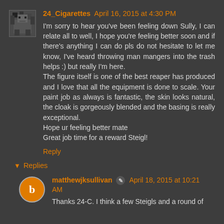24_Cigarettes April 16, 2015 at 4:30 PM
I'm sorry to hear you've been feeling down Sully, I can relate all to well, I hope you're feeling better soon and if there's anything I can do pls do not hesitate to let me know, I've heard throwing man mangers into the trash helps :) but really I'm here.
The figure itself is one of the best reaper has produced and I love that all the equipment is done to scale. Your paint job as always is fantastic, the skin looks natural, the cloak is gorgeously blended and the basing is really exceptional.
Hope ur feeling better mate
Great job time for a reward Steigl!
Reply
Replies
matthewjksullivan April 18, 2015 at 10:21 AM
Thanks 24-C. I think a few Steigls and a round of